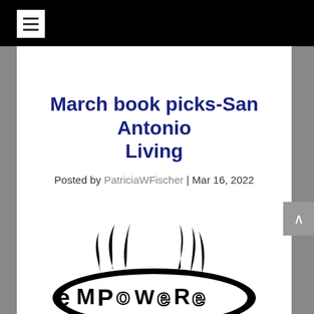March book picks-San Antonio Living
Posted by PatriciaWFischer | Mar 16, 2022
[Figure (illustration): Black and white illustration of the word EMPOWER rendered in bold stylized bubble letters with decorative elements resembling tentacles or flames rising from the top]